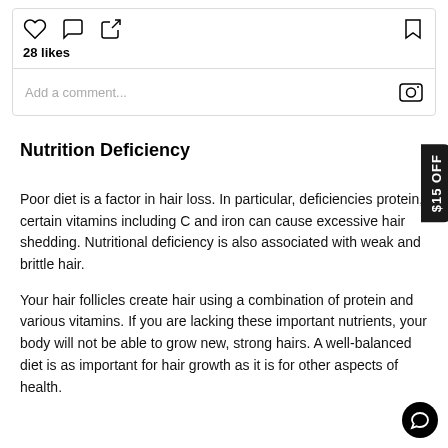[Figure (screenshot): Instagram interaction bar with heart, comment, share icons on the left, bookmark icon on the right, showing 28 likes and an 'Add a comment...' input field with Instagram logo]
Nutrition Deficiency
Poor diet is a factor in hair loss. In particular, deficiencies protein, certain vitamins including C and iron can cause excessive hair shedding. Nutritional deficiency is also associated with weak and brittle hair.
Your hair follicles create hair using a combination of protein and various vitamins. If you are lacking these important nutrients, your body will not be able to grow new, strong hairs. A well-balanced diet is as important for hair growth as it is for other aspects of health.